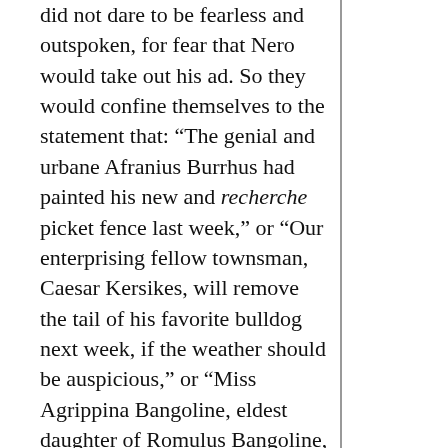did not dare to be fearless and outspoken, for fear that Nero would take out his ad. So they would confine themselves to the statement that: “The genial and urbane Afranius Burrhus had painted his new and recherche picket fence last week,” or “Our enterprising fellow townsman, Caesar Kersikes, will remove the tail of his favorite bulldog next week, if the weather should be auspicious,” or “Miss Agrippina Bangoline, eldest daughter of Romulus Bangoline, the great Roman rinkist, will teach the school at Eupatorium, Trifoliatum Holler, this summer. She is a